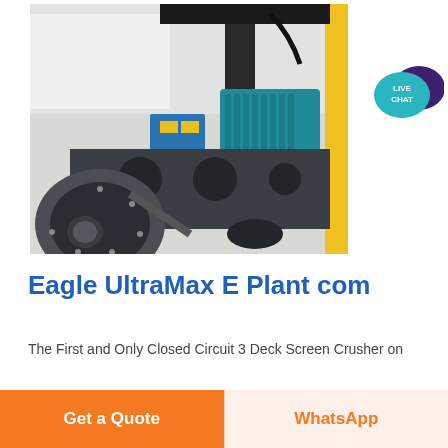[Figure (photo): Close-up photo of industrial crusher/screen machine components showing blue electric motor, dark grey metal frames with circular holes, and yellow structural elements in a workshop setting.]
Eagle UltraMax E Plant com
The First and Only Closed Circuit 3 Deck Screen Crusher on
Get a Quote
WhatsApp